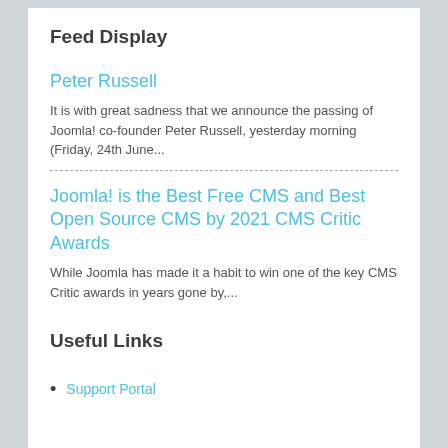Feed Display
Peter Russell
It is with great sadness that we announce the passing of Joomla! co-founder Peter Russell, yesterday morning (Friday, 24th June...
Joomla! is the Best Free CMS and Best Open Source CMS by 2021 CMS Critic Awards
While Joomla has made it a habit to win one of the key CMS Critic awards in years gone by,...
Useful Links
Support Portal